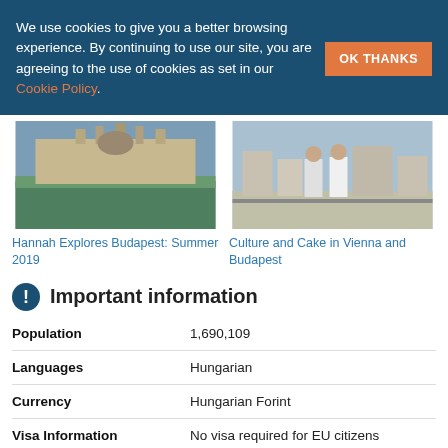We use cookies to give you a better browsing experience. By continuing to use our site, you are agreeing to the use of cookies as set in our Cookie Policy.
[Figure (photo): Photo of the Hungarian Parliament Building in Budapest, with green lawn in foreground and cloudy sky]
[Figure (photo): Photo of two women standing on a rooftop terrace with Vienna/Budapest cityscape in background]
Hannah Explores Budapest: Summer 2019
Culture and Cake in Vienna and Budapest
Important information
| Population | 1,690,109 |
| Languages | Hungarian |
| Currency | Hungarian Forint |
| Visa Information | No visa required for EU citizens |